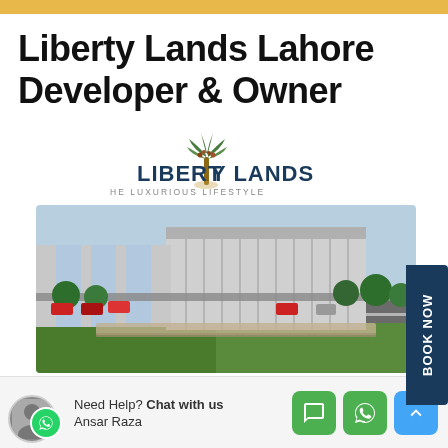Liberty Lands Lahore Developer & Owner
[Figure (logo): Liberty Lands logo with palm tree icon and tagline 'THE LUXURIOUS LIFESTYLE']
[Figure (photo): Aerial rendered view of Liberty Lands Lahore development showing modern commercial buildings with glass facades, roads with cars, and green trees]
Need Help? Chat with us
Ansar Raza